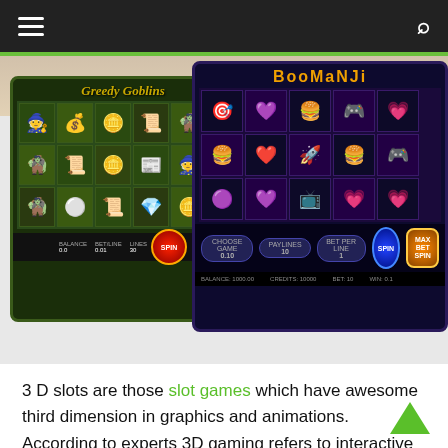Navigation bar with hamburger menu and search icon
[Figure (screenshot): Screenshot of two 3D slot games: Greedy Goblins (left) and Boomanji (right), showing reel grids, game controls, and spin buttons on dark backgrounds.]
3 D slots are those slot games which have awesome third dimension in graphics and animations. According to experts 3D gaming refers to interactive computer entertainment games with characteristics of three-dimensional graphics: height, width, and depth. 3D gaming is believed to create immersive experience in a virtual worlds